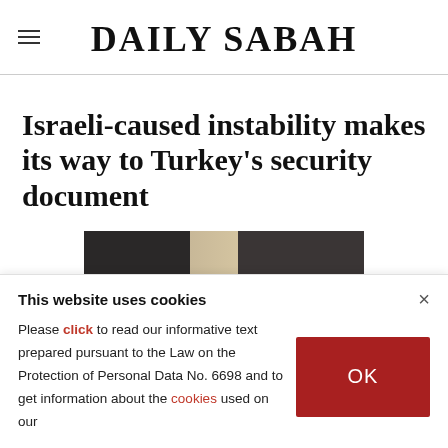DAILY SABAH
Israeli-caused instability makes its way to Turkey's security document
[Figure (photo): Photo of uniformed figures standing in front of a building facade with contrasting panels]
This website uses cookies
Please click to read our informative text prepared pursuant to the Law on the Protection of Personal Data No. 6698 and to get information about the cookies used on our